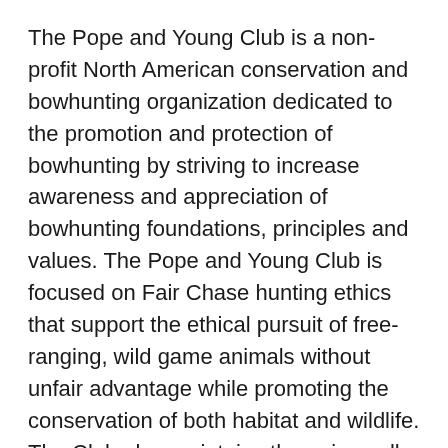The Pope and Young Club is a non-profit North American conservation and bowhunting organization dedicated to the promotion and protection of bowhunting by striving to increase awareness and appreciation of bowhunting foundations, principles and values. The Pope and Young Club is focused on Fair Chase hunting ethics that support the ethical pursuit of free-ranging, wild game animals without unfair advantage while promoting the conservation of both habitat and wildlife. The Club also maintains the universally recognized repository of records and statistics on North American big game animals harvested with a bow and arrow.